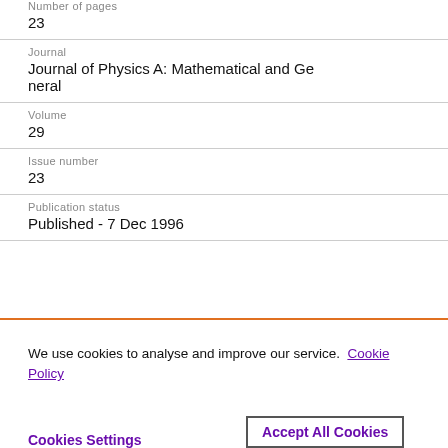Number of pages
23
Journal
Journal of Physics A: Mathematical and General
Volume
29
Issue number
23
Publication status
Published - 7 Dec 1996
We use cookies to analyse and improve our service. Cookie Policy
Cookies Settings
Accept All Cookies